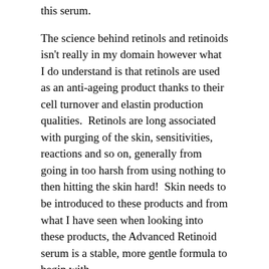this serum.
The science behind retinols and retinoids isn't really in my domain however what I do understand is that retinols are used as an anti-ageing product thanks to their cell turnover and elastin production qualities.  Retinols are long associated with purging of the skin, sensitivities, reactions and so on, generally from going in too harsh from using nothing to then hitting the skin hard!  Skin needs to be introduced to these products and from what I have seen when looking into these products, the Advanced Retinoid serum is a stable, more gentle formula to begin with.
Please check The Ordinary website for the technical side of this product!  In terms of a user view, this product I believe is working wonders for my skin.  It is designed for anti-ageing and acne